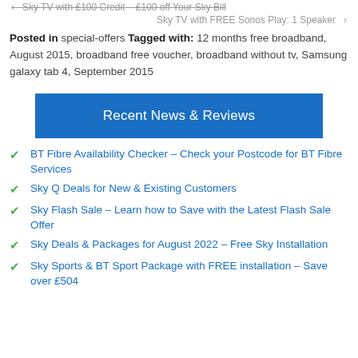Sky TV with £100 Credit – £100 off Your Sky Bill
Sky TV with FREE Sonos Play: 1 Speaker ›
Posted in special-offers Tagged with: 12 months free broadband, August 2015, broadband free voucher, broadband without tv, Samsung galaxy tab 4, September 2015
Recent News & Reviews
BT Fibre Availability Checker – Check your Postcode for BT Fibre Services
Sky Q Deals for New & Existing Customers
Sky Flash Sale – Learn how to Save with the Latest Flash Sale Offer
Sky Deals & Packages for August 2022 – Free Sky Installation
Sky Sports & BT Sport Package with FREE installation – Save over £504